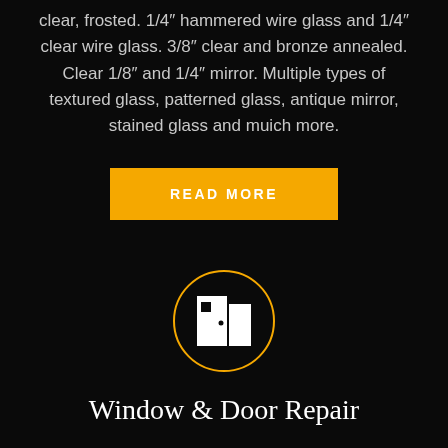clear, frosted. 1/4" hammered wire glass and 1/4" clear wire glass. 3/8" clear and bronze annealed. Clear 1/8" and 1/4" mirror. Multiple types of textured glass, patterned glass, antique mirror, stained glass and muich more.
READ MORE
[Figure (illustration): A circular icon outlined in gold/amber color on a black background. Inside the circle is a white icon depicting an open door with a small square (window or panel) on it, and a wall/frame on the right side.]
Window & Door Repair